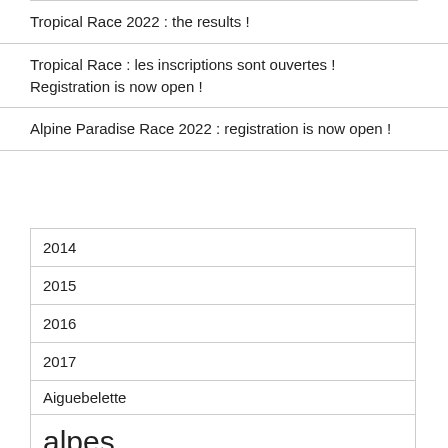Tropical Race 2022 : the results !
Tropical Race : les inscriptions sont ouvertes ! Registration is now open !
Alpine Paradise Race 2022 : registration is now open !
| 2014 |
| 2015 |
| 2016 |
| 2017 |
| Aiguebelette |
| alpes |
| alpine lakes tour |